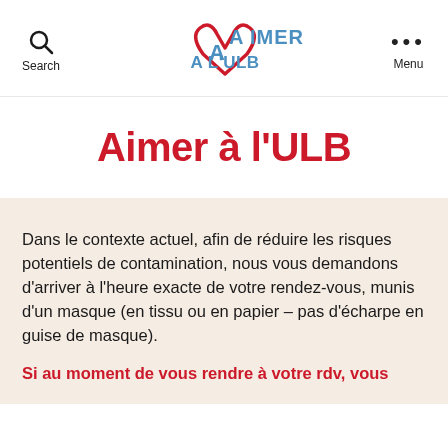Search | Aimer à l'ULB logo | Menu
[Figure (logo): Aimer à l'ULB logo — a red heart outline forming the letter A with blue sans-serif text 'AIMER' and 'A L'ULB']
Aimer à l'ULB
Dans le contexte actuel, afin de réduire les risques potentiels de contamination, nous vous demandons d'arriver à l'heure exacte de votre rendez-vous, munis d'un masque (en tissu ou en papier – pas d'écharpe en guise de masque).
Si au moment de vous rendre à votre rdv, vous